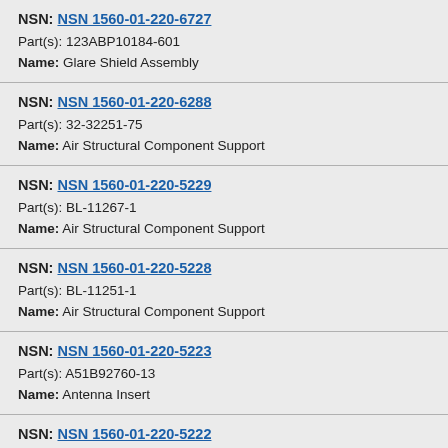NSN: NSN 1560-01-220-6727
Part(s): 123ABP10184-601
Name: Glare Shield Assembly
NSN: NSN 1560-01-220-6288
Part(s): 32-32251-75
Name: Air Structural Component Support
NSN: NSN 1560-01-220-5229
Part(s): BL-11267-1
Name: Air Structural Component Support
NSN: NSN 1560-01-220-5228
Part(s): BL-11251-1
Name: Air Structural Component Support
NSN: NSN 1560-01-220-5223
Part(s): A51B92760-13
Name: Antenna Insert
NSN: NSN 1560-01-220-5222